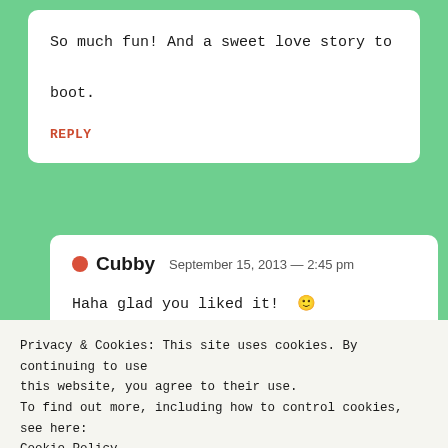So much fun! And a sweet love story to boot.
REPLY
Cubby  September 15, 2013 — 2:45 pm
Haha glad you liked it! 🙂
Privacy & Cookies: This site uses cookies. By continuing to use this website, you agree to their use.
To find out more, including how to control cookies, see here:
Cookie Policy
Close and accept
Norton Nearly  September 15, 2013 — 5:22 am